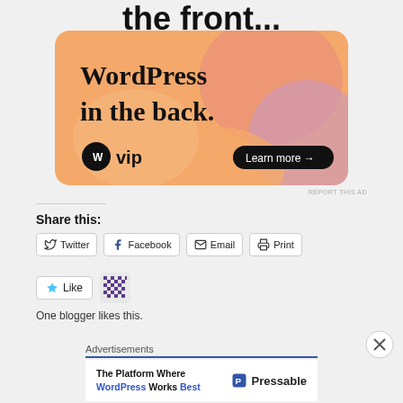the front...
[Figure (illustration): WordPress VIP advertisement banner with orange/pink gradient background. Text reads 'WordPress in the back.' with WP VIP logo and 'Learn more →' button.]
REPORT THIS AD
Share this:
Twitter  Facebook  Email  Print
Like
One blogger likes this.
Advertisements
[Figure (illustration): Pressable advertisement: 'The Platform Where WordPress Works Best' with Pressable logo on right.]